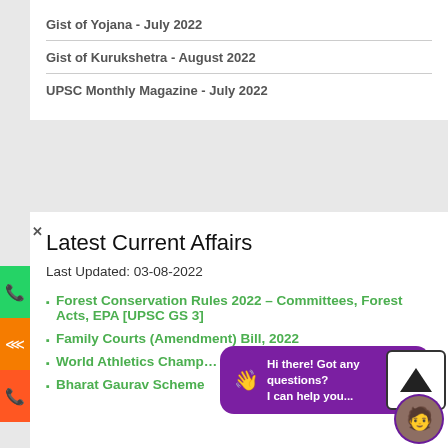Gist of Yojana - July 2022
Gist of Kurukshetra - August 2022
UPSC Monthly Magazine - July 2022
Latest Current Affairs
Last Updated: 03-08-2022
Forest Conservation Rules 2022 – Committees, Forest Acts, EPA [UPSC GS 3]
Family Courts (Amendment) Bill, 2022
World Athletics Champ…
Bharat Gaurav Scheme
Hi there! Got any questions? I can help you...